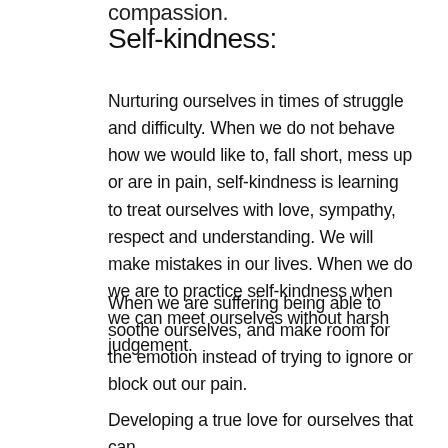compassion.
Self-kindness:
Nurturing ourselves in times of struggle and difficulty. When we do not behave how we would like to, fall short, mess up or are in pain, self-kindness is learning to treat ourselves with love, sympathy, respect and understanding. We will make mistakes in our lives. When we do we are to practice self-kindness when we can meet ourselves without harsh judgement.
When we are suffering being able to soothe ourselves, and make room for the emotion instead of trying to ignore or block out our pain.
Developing a true love for ourselves that can